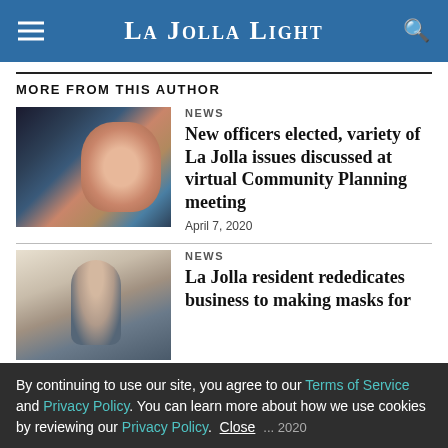La Jolla Light
MORE FROM THIS AUTHOR
[Figure (photo): Screenshot of virtual meeting with woman in glasses and blue vest visible on right panel]
NEWS
New officers elected, variety of La Jolla issues discussed at virtual Community Planning meeting
April 7, 2020
[Figure (photo): Photo of man standing in shop/business interior]
NEWS
La Jolla resident rededicates business to making masks for
April ..., 2020
By continuing to use our site, you agree to our Terms of Service and Privacy Policy. You can learn more about how we use cookies by reviewing our Privacy Policy. Close